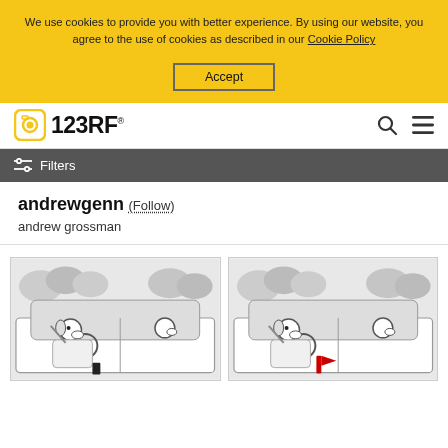We use cookies to provide you with better experience. By using our website, you agree to the use of cookies as described in our Cookie Policy
Accept
[Figure (logo): 123RF logo with camera icon]
Filters
andrewgenn (Follow)
andrew grossman
[Figure (illustration): Cartoon illustration of a dog driving a car, black and white sketch style]
[Figure (illustration): Cartoon illustration of a dog driving a car with red flag, black and white sketch style]